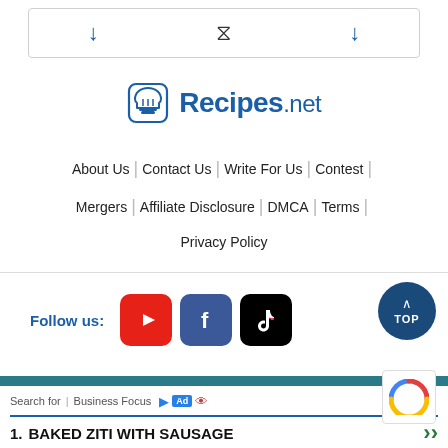[Figure (screenshot): Top browser-like bar with two blue down arrows and a loading spinner]
[Figure (logo): Recipes.net logo with chef hat icon]
About Us | Contact Us | Write For Us | Contest |
Mergers | Affiliate Disclosure | DMCA | Terms |
Privacy Policy
[Figure (infographic): Follow us section with YouTube, Facebook, TikTok icons and TOP button]
Search for | Business Focus   Ad   1. BAKED ZITI WITH SAUSAGE